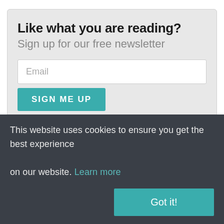Like what you are reading?
Sign up for our free newsletter
Email
SIGN ME UP
[Figure (logo): Sartorius company logo/wordmark in bold black text]
This website uses cookies to ensure you get the best experience on our website. Learn more
Got it!